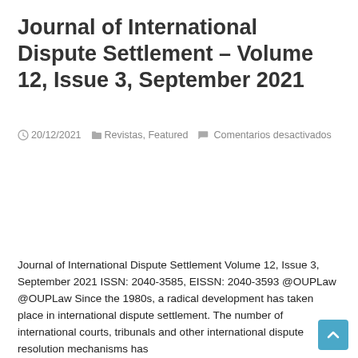Journal of International Dispute Settlement – Volume 12, Issue 3, September 2021
20/12/2021  Revistas, Featured  Comentarios desactivados
Journal of International Dispute Settlement Volume 12, Issue 3, September 2021 ISSN: 2040-3585, EISSN: 2040-3593 @OUPLaw @OUPLaw Since the 1980s, a radical development has taken place in international dispute settlement. The number of international courts, tribunals and other international dispute resolution mechanisms has